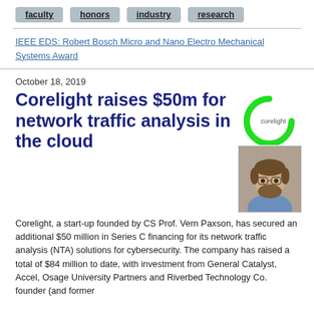faculty   honors   industry   research
IEEE EDS: Robert Bosch Micro and Nano Electro Mechanical Systems Award
October 18, 2019
Corelight raises $50m for network traffic analysis in the cloud
[Figure (logo): Corelight company logo: green arc/circle with text 'corelight' in center]
[Figure (photo): Headshot of a bearded man with glasses wearing a blue shirt]
Corelight, a start-up founded by CS Prof. Vern Paxson, has secured an additional $50 million in Series C financing for its network traffic analysis (NTA) solutions for cybersecurity.  The company has raised a total of $84 million to date, with investment from General Catalyst, Accel, Osage University Partners and Riverbed Technology Co. founder (and former